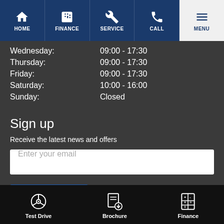HOME | FINANCE | SERVICE | CALL | MENU
Wednesday: 09:00 - 17:30
Thursday: 09:00 - 17:30
Friday: 09:00 - 17:30
Saturday: 10:00 - 16:00
Sunday: Closed
Sign up
Receive the latest news and offers
Enter your email
Subscribe
Test Drive | Brochure | Finance